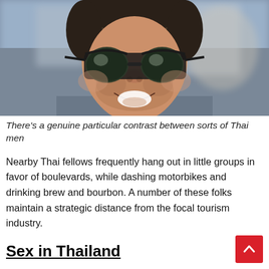[Figure (photo): Close-up photo of a smiling man wearing reflective aviator sunglasses, with stubble beard, against a blurred outdoor background.]
There's a genuine particular contrast between sorts of Thai men
Nearby Thai fellows frequently hang out in little groups in favor of boulevards, while dashing motorbikes and drinking brew and bourbon. A number of these folks maintain a strategic distance from the focal tourism industry.
Sex in Thailand
Indeed, even with a noteworthy Thai sex industry, the